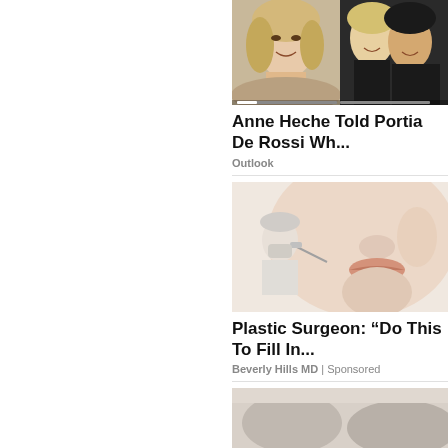[Figure (photo): Two women smiling together in a photo - news article thumbnail for Anne Heche story]
Anne Heche Told Portia De Rossi Wh...
Outlook
[Figure (photo): Close-up of a woman's face with a doctor/injector in the background - medical/beauty advertisement thumbnail]
Plastic Surgeon: “Do This To Fill In...
Beverly Hills MD | Sponsored
[Figure (photo): Partial image at bottom of page - partially visible thumbnail]